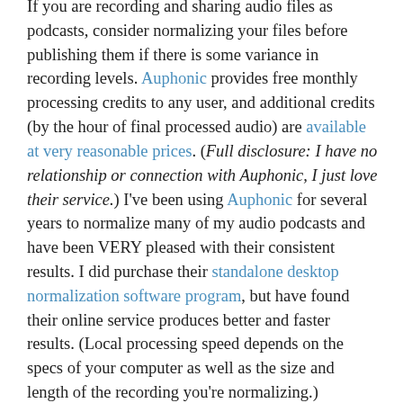If you are recording and sharing audio files as podcasts, consider normalizing your files before publishing them if there is some variance in recording levels. Auphonic provides free monthly processing credits to any user, and additional credits (by the hour of final processed audio) are available at very reasonable prices. (Full disclosure: I have no relationship or connection with Auphonic, I just love their service.) I've been using Auphonic for several years to normalize many of my audio podcasts and have been VERY pleased with their consistent results. I did purchase their standalone desktop normalization software program, but have found their online service produces better and faster results. (Local processing speed depends on the specs of your computer as well as the size and length of the recording you're normalizing.)
If you'd like to learn more about publishing audio podcasts with WordPress, check out the podcast and slides from my July 2015 presentation, "Podcasting Options with WordPress." Also check out the "Radio Show" page of ShowWithMedia.com.